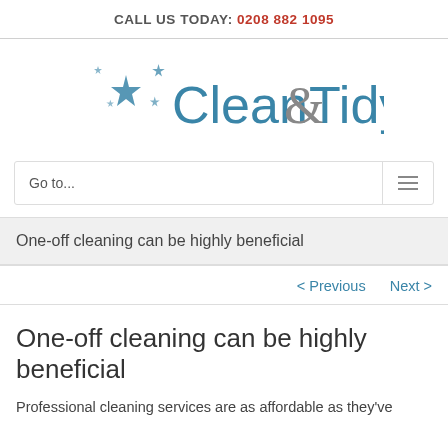CALL US TODAY: 0208 882 1095
[Figure (logo): Clean&Tidy logo with sparkle/star graphic elements in teal blue and grey]
Go to...
One-off cleaning can be highly beneficial
< Previous   Next >
One-off cleaning can be highly beneficial
Professional cleaning services are as affordable as they've